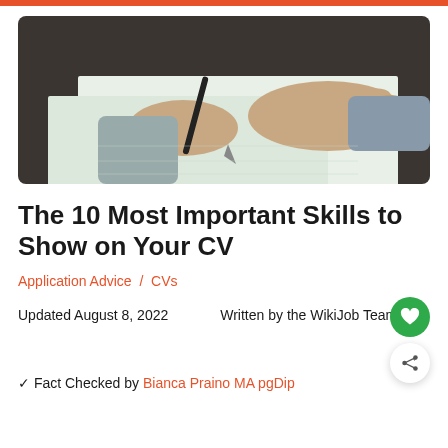[Figure (photo): Close-up of a person's hands writing on paper with a pen, desk surface visible, soft light background]
The 10 Most Important Skills to Show on Your CV
Application Advice / CVs
Updated August 8, 2022   Written by the WikiJob Team
✓ Fact Checked by Bianca Praino MA pgDip